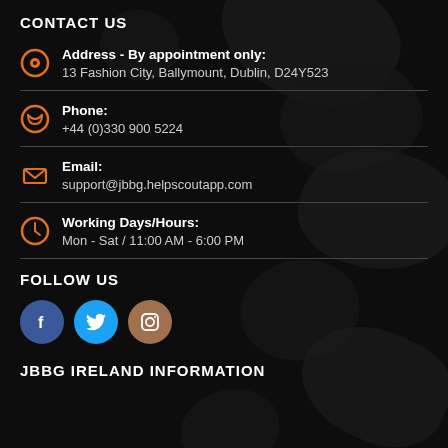CONTACT US
Address - By appointment only: 13 Fashion City, Ballymount, Dublin, D24Y523
Phone: +44 (0)330 900 5224
Email: support@jbbg.helpscoutapp.com
Working Days/Hours: Mon - Sat / 11:00 AM - 6:00 PM
FOLLOW US
[Figure (illustration): Three social media buttons: Facebook (blue circle with f), Twitter (cyan circle with bird), Instagram (brown circle with camera icon)]
JBBG IRELAND INFORMATION